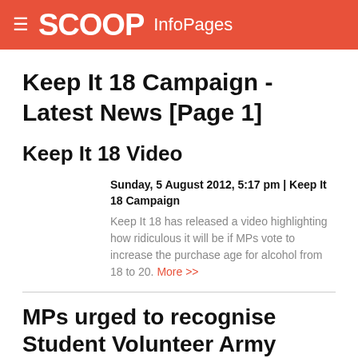SCOOP InfoPages
Keep It 18 Campaign - Latest News [Page 1]
Keep It 18 Video
Sunday, 5 August 2012, 5:17 pm | Keep It 18 Campaign
Keep It 18 has released a video highlighting how ridiculous it will be if MPs vote to increase the purchase age for alcohol from 18 to 20. More >>
MPs urged to recognise Student Volunteer Army members